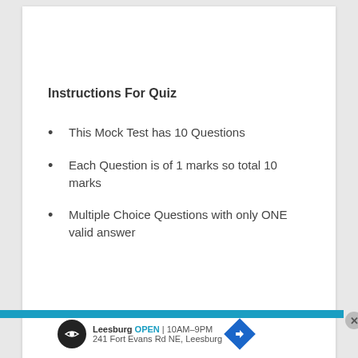Instructions For Quiz
This Mock Test has 10 Questions
Each Question is of 1 marks so total 10 marks
Multiple Choice Questions with only ONE valid answer
Leesburg OPEN | 10AM–9PM 241 Fort Evans Rd NE, Leesburg